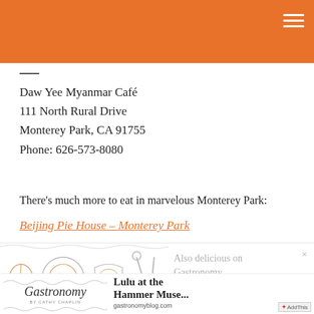[Figure (illustration): Orange header bar with hamburger menu icon in top right]
Daw Yee Myanmar Café
111 North Rural Drive
Monterey Park, CA 91755
Phone: 626-573-8080
There's much more to eat in marvelous Monterey Park:
Beijing Pie House – Monterey Park
[Figure (illustration): Food utensils and dishes decorative banner with text 'Also delicious on Gastronomy...' and close button]
[Figure (illustration): Gastronomy blog logo with Gastronomy text and 'by Cathy Chaplin' byline, alongside Lulu at the Hammer Muse... promotion with gastronomyblog.com URL and AddThis button]